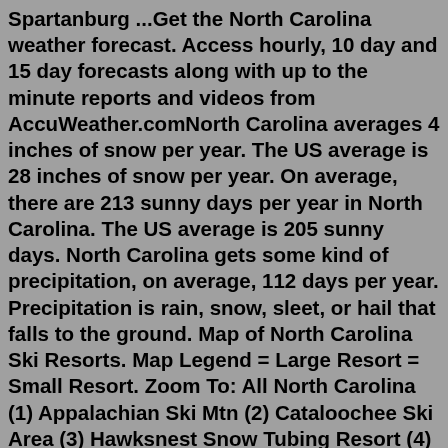Spartanburg ...Get the North Carolina weather forecast. Access hourly, 10 day and 15 day forecasts along with up to the minute reports and videos from AccuWeather.comNorth Carolina averages 4 inches of snow per year. The US average is 28 inches of snow per year. On average, there are 213 sunny days per year in North Carolina. The US average is 205 sunny days. North Carolina gets some kind of precipitation, on average, 112 days per year. Precipitation is rain, snow, sleet, or hail that falls to the ground. Map of North Carolina Ski Resorts. Map Legend = Large Resort = Small Resort. Zoom To: All North Carolina (1) Appalachian Ski Mtn (2) Cataloochee Ski Area (3) Hawksnest Snow Tubing Resort (4) Sapphire Valley (5) Ski Beech (6) Sugar Mountain Ski Resort (7) Wolf Ridge Ski Slopes; Neighbouring Regions: Tennessee; Virginia;US Dept of Commerce National Oceanic and Atmospheric Administration National Weather Service Raleigh, NC 1005 Capability Drive, Suite 300 Centennial CampusAsheville. Best Places to Stay. Asheville is one of the more popular cities in North